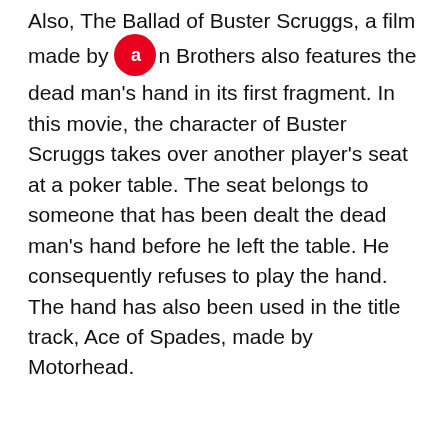Also, The Ballad of Buster Scruggs, a film made by Coen Brothers also features the dead man's hand in its first fragment. In this movie, the character of Buster Scruggs takes over another player's seat at a poker table. The seat belongs to someone that has been dealt the dead man's hand before he left the table. He consequently refuses to play the hand. The hand has also been used in the title track, Ace of Spades, made by Motorhead.